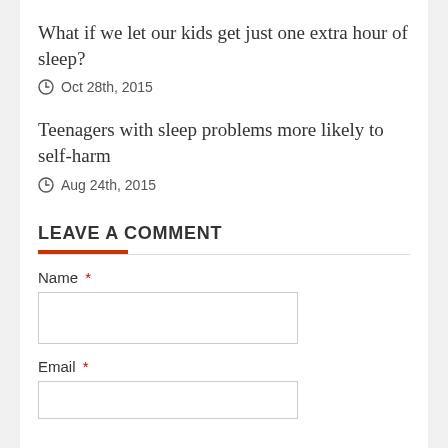What if we let our kids get just one extra hour of sleep?
Oct 28th, 2015
Teenagers with sleep problems more likely to self-harm
Aug 24th, 2015
LEAVE A COMMENT
Name *
Email *